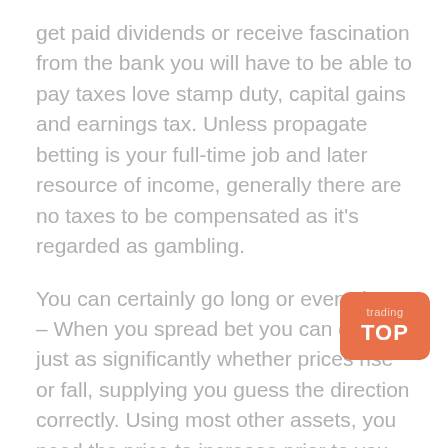get paid dividends or receive fascination from the bank you will have to be able to pay taxes love stamp duty, capital gains and earnings tax. Unless propagate betting is your full-time job and later resource of income, generally there are no taxes to be compensated as it's regarded as gambling.
You can certainly go long or even short – When you spread bet you can gain just as significantly whether prices rise or fall, supplying you guess the direction correctly. Using most other assets, you need the price to increase prior to you make a new profit.
You could gamble on a rise or fall from the same period – If the FTSE, for example, is definitely trading at 5551-5552, you can location two bets, a single that it will increase and one that it may fall. These just get triggered if the FTSE actually goes. So if that starts going upward, your bet that it will rise gets triggered